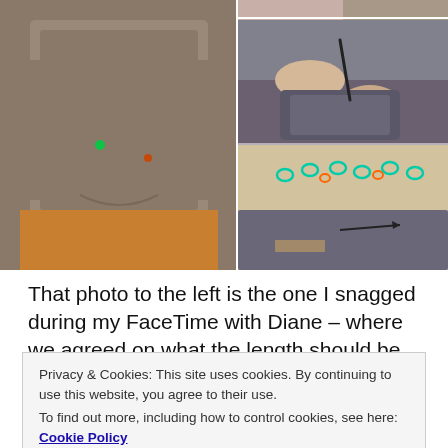[Figure (photo): Collage of four photos showing a knitted sweater being fitted and worked on. Left: a person wearing a knitted sweater showing the hem length. Top right: a small strip photo of knitting. Middle right: hands holding and working on a knitted garment. Bottom right: knitting with teal stitch markers laid out on a textured surface.]
That photo to the left is the one I snagged during my FaceTime with Diane – where we agreed on what the length should be. The photos to the right show my
Privacy & Cookies: This site uses cookies. By continuing to use this website, you agree to their use.
To find out more, including how to control cookies, see here: Cookie Policy
to actual rows based on my blocked row gauge ... just